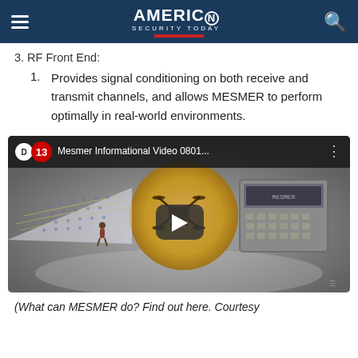AMERICAN SECURITY TODAY
3. RF Front End:
1. Provides signal conditioning on both receive and transmit channels, and allows MESMER to perform optimally in real-world environments.
[Figure (screenshot): YouTube video embed thumbnail showing 'Mesmer Informational Video 0801...' with a drone hovering above a circular signal pattern and a hardware device on the right. A play button is centered on the thumbnail.]
(What can MESMER do? Find out here. Courtesy